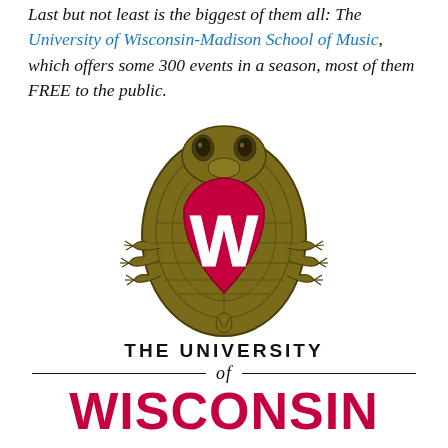Last but not least is the biggest of them all: The University of Wisconsin-Madison School of Music, which offers some 300 events in a season, most of them FREE to the public.
[Figure (logo): University of Wisconsin-Madison badger shield logo — an oval olive/gold badger shell shape with a red heart-shaped shield in the center bearing a white W, with the badger's head and claws visible.]
[Figure (logo): University of Wisconsin wordmark: 'THE UNIVERSITY' in black bold caps, 'of' in black italic, 'WISCONSIN' in large crimson/red bold letters, with horizontal divider lines flanking 'of'.]